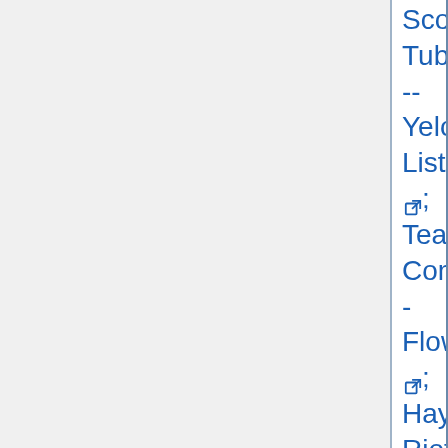Scorpio Tube---Yelow Listen; Tea Company--Flowers; Haymarket Riot--Trip On Out; Quiet Jungle--Everything; Morning Glory--Jelly Gas Flame; Glass Sun--Silence of the Morning; no-name track; The Answer--Why You Smile; The Vejtables--Hide Yourself; The Open Mind-